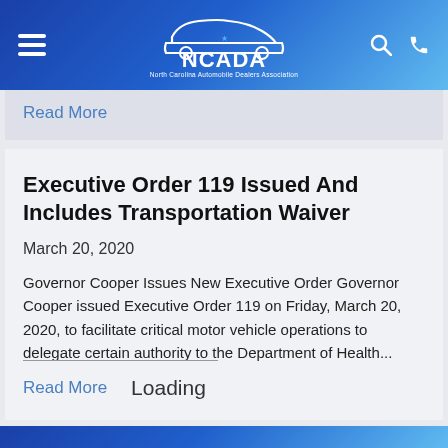NCADA – North Carolina Automobile Dealers Association
Read More
Executive Order 119 Issued And Includes Transportation Waiver
March 20, 2020
Governor Cooper Issues New Executive Order Governor Cooper issued Executive Order 119 on Friday, March 20, 2020, to facilitate critical motor vehicle operations to delegate certain authority to the Department of Health...
Read More
Loading